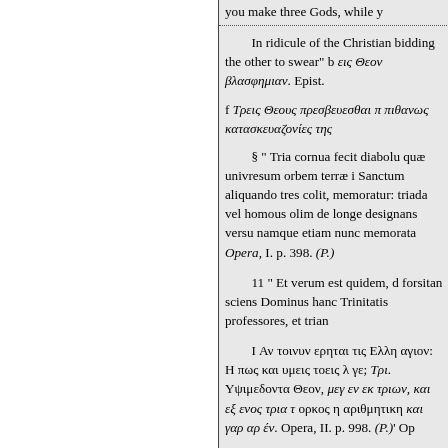you make three Gods, while y
In ridicule of the Christian bidding the other to swear" b εις Θεον βλασφημιαν. Epist.
f Τρεις Θεους πρεσβευεσθαι π πιθανως κατασκευαζονίες της
§ " Tria cornua fecit diabolu quæ univresum orbem terræ i Sanctum aliquando tres colit, memoratur: triada vel homous olim de longe designans versu namque etiam nunc memorata Opera, I. p. 398. (P.)
11 " Et verum est quidem, d forsitan sciens Dominus hanc Trinitatis professores, et trian
I Αν τοινυν ερηται τις Ελλη αγιον: Η πως και υμεις τοεις λ γε; Τρι. Υψιμεδοντα Θεον, μεγ εν εκ τριων, και εξ ενος τρια τ ορκος η αριθμητικη και γαρ αρ έν. Opera, II. p. 998. (P.)' Op